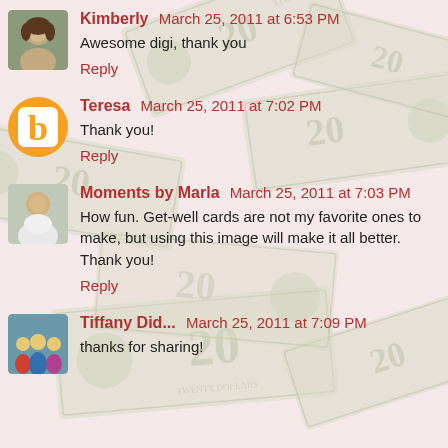Kimberly  March 25, 2011 at 6:53 PM
Awesome digi, thank you
Reply
Teresa  March 25, 2011 at 7:02 PM
Thank you!
Reply
Moments by Marla  March 25, 2011 at 7:03 PM
How fun. Get-well cards are not my favorite ones to make, but using this image will make it all better. Thank you!
Reply
Tiffany Did...  March 25, 2011 at 7:09 PM
thanks for sharing!